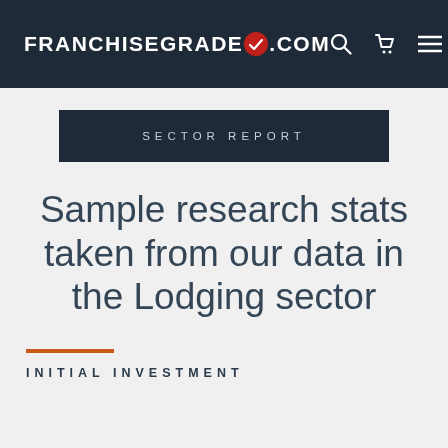FRANCHISEGRADE.COM
SECTOR REPORT
Sample research stats taken from our data in the Lodging sector
INITIAL INVESTMENT